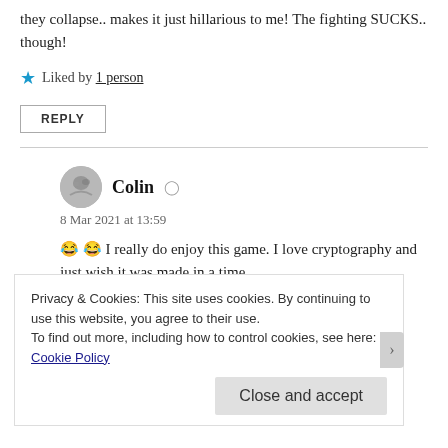they collapse.. makes it just hillarious to me! The fighting SUCKS.. though!
★ Liked by 1 person
REPLY
Colin  8 Mar 2021 at 13:59
😂 😂 I really do enjoy this game. I love cryptography and just wish it was made in a time
Privacy & Cookies: This site uses cookies. By continuing to use this website, you agree to their use.
To find out more, including how to control cookies, see here: Cookie Policy
Close and accept